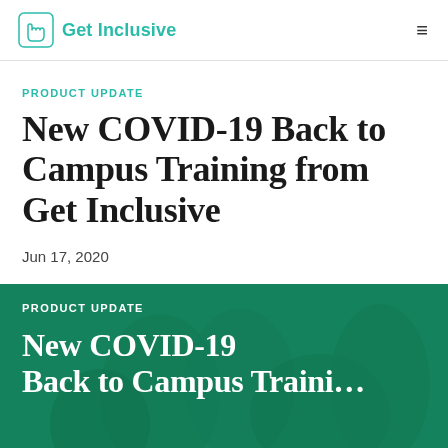Get Inclusive
PRODUCT UPDATE
New COVID-19 Back to Campus Training from Get Inclusive
Jun 17, 2020
PRODUCT UPDATE
New COVID-19 Back to Campus Traini…